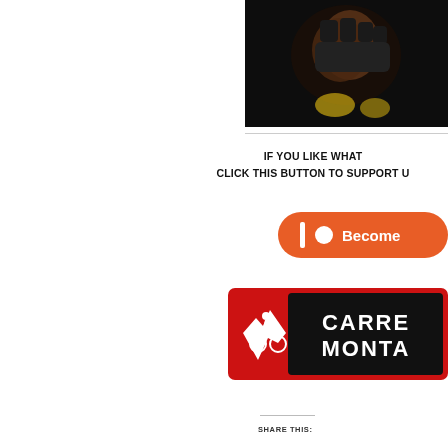[Figure (photo): Close-up photo of gloved hands clasped together against a dark background, partially visible at top right of page]
IF YOU LIKE WHAT
CLICK THIS BUTTON TO SUPPORT U
[Figure (logo): Patreon button - orange rounded rectangle with pipe symbol, circle dot, and text 'Become']
[Figure (logo): Carrera Montana logo - red badge with mountain and cyclist icon on left, black background with 'CARRE MONTA' text on right]